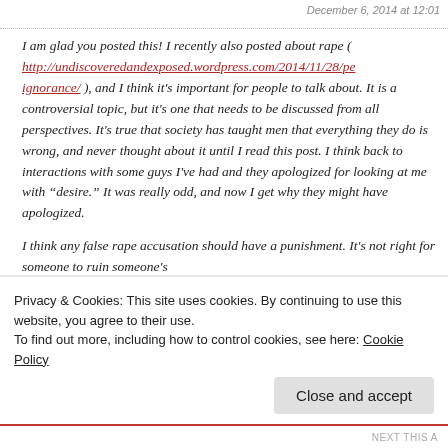December 6, 2014 at 12:01
I am glad you posted this! I recently also posted about rape ( http://undiscoveredandexposed.wordpress.com/2014/11/28/pe ignorance/ ), and I think it's important for people to talk about. It is a controversial topic, but it's one that needs to be discussed from all perspectives. It's true that society has taught men that everything they do is wrong, and never thought about it until I read this post. I think back to interactions with some guys I've had and they apologized for looking at me with “desire.” It was really odd, and now I get why they might have apologized.

I think any false rape accusation should have a punishment. It's not right for someone to ruin someone's
Privacy & Cookies: This site uses cookies. By continuing to use this website, you agree to their use.
To find out more, including how to control cookies, see here: Cookie Policy
Close and accept